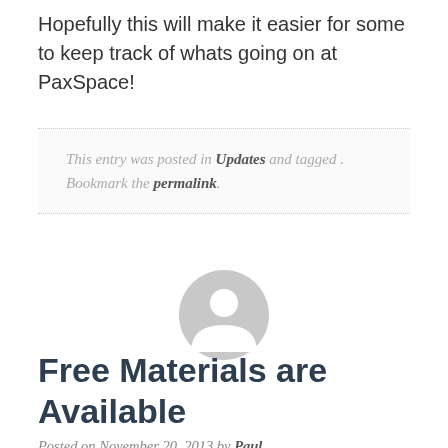Hopefully this will make it easier for some to keep track of whats going on at PaxSpace!
This entry was posted in Updates and tagged . Bookmark the permalink.
[Figure (illustration): Gray default user avatar icon — circular silhouette of a person]
Free Materials are Available
Posted on November 20, 2013 by Paul